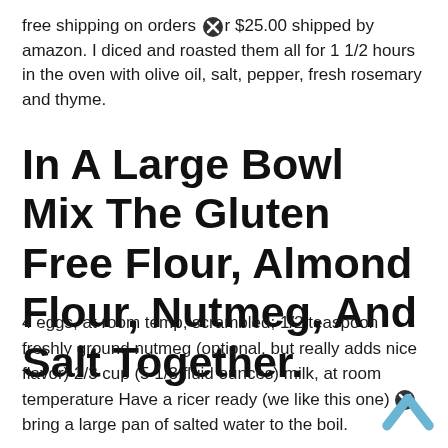free shipping on orders over $25.00 shipped by amazon. I diced and roasted them all for 1 1/2 hours in the oven with olive oil, salt, pepper, fresh rosemary and thyme.
In A Large Bowl Mix The Gluten Free Flour, Almond Flour, Nutmeg, And Salt Together.
4 eggs, at room temp, scrambled; 1/2 teaspoon freshly ground nutmeg (optional, but really adds nice flavor) 2/3 cup (5 1/3 fluid ounces) milk, at room temperature Have a ricer ready (we like this one) bring a large pan of salted water to the boil.